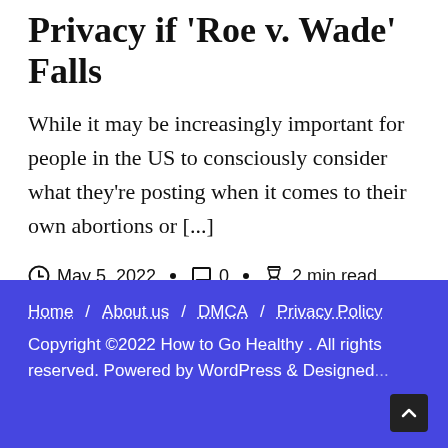How to Protect Your Digital Privacy if 'Roe v. Wade' Falls
While it may be increasingly important for people in the US to consciously consider what they're posting when it comes to their own abortions or [...]
May 5, 2022 · 0 · 2 min read
Home / About us / DMCA / Privacy Policy
Copyright ©2022 How to Go Healthy . All rights reserved. Powered by WordPress & Designed ...